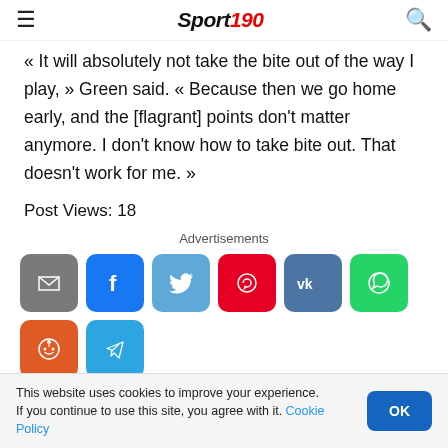Sport 190
« It will absolutely not take the bite out of the way I play, » Green said. « Because then we go home early, and the [flagrant] points don't matter anymore. I don't know how to take bite out. That doesn't work for me. »
Post Views: 18
Advertisements
[Figure (other): Social share buttons: Email, Facebook, Twitter, Pinterest, VK, WhatsApp, Reddit, Telegram]
This website uses cookies to improve your experience. If you continue to use this site, you agree with it. Cookie Policy